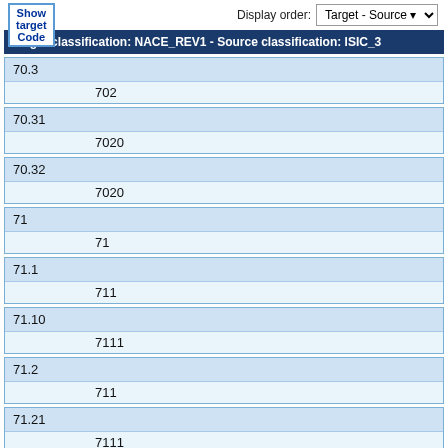Target classification: NACE_REV1 - Source classification: ISIC_3
| Target | Source |
| --- | --- |
| 70.3 | 702 |
| 70.31 | 7020 |
| 70.32 | 7020 |
| 71 | 71 |
| 71.1 | 711 |
| 71.10 | 7111 |
| 71.2 | 711 |
| 71.21 | 7111 |